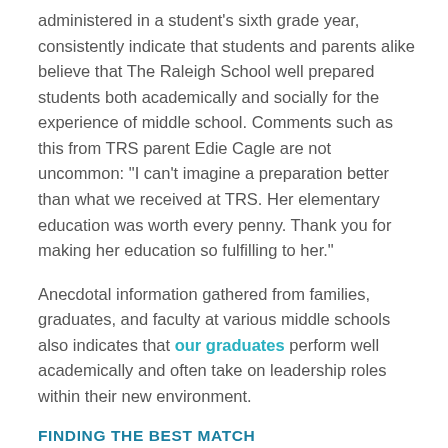administered in a student's sixth grade year, consistently indicate that students and parents alike believe that The Raleigh School well prepared students both academically and socially for the experience of middle school. Comments such as this from TRS parent Edie Cagle are not uncommon: "I can't imagine a preparation better than what we received at TRS. Her elementary education was worth every penny. Thank you for making her education so fulfilling to her."
Anecdotal information gathered from families, graduates, and faculty at various middle schools also indicates that our graduates perform well academically and often take on leadership roles within their new environment.
FINDING THE BEST MATCH
While preparing students for middle school is an ongoing process, we also work closely with families of